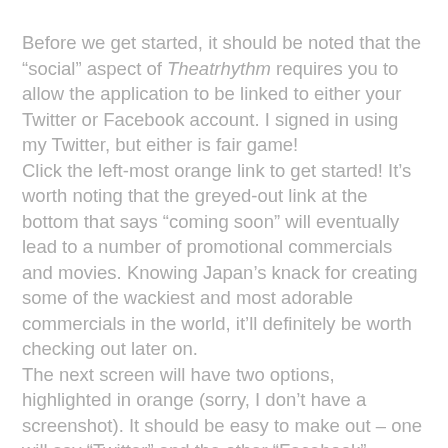Before we get started, it should be noted that the “social” aspect of Theatrhythm requires you to allow the application to be linked to either your Twitter or Facebook account. I signed in using my Twitter, but either is fair game!
Click the left-most orange link to get started! It’s worth noting that the greyed-out link at the bottom that says “coming soon” will eventually lead to a number of promotional commercials and movies. Knowing Japan’s knack for creating some of the wackiest and most adorable commercials in the world, it’ll definitely be worth checking out later on.
The next screen will have two options, highlighted in orange (sorry, I don’t have a screenshot). It should be easy to make out – one will say “Twitter” and the other “Facebook” followed by some Japanese. This is